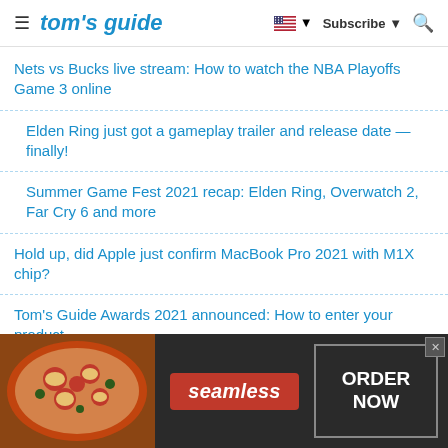tom's guide
Nets vs Bucks live stream: How to watch the NBA Playoffs Game 3 online
Elden Ring just got a gameplay trailer and release date — finally!
Summer Game Fest 2021 recap: Elden Ring, Overwatch 2, Far Cry 6 and more
Hold up, did Apple just confirm MacBook Pro 2021 with M1X chip?
Tom's Guide Awards 2021 announced: How to enter your product
Shadow and Bone season 2 already written — and that could be good news for release date
Sti...ck $1.2 billi...
[Figure (screenshot): Seamless food delivery advertisement banner with pizza image on left, red Seamless logo in center, and ORDER NOW button on right with dark background]